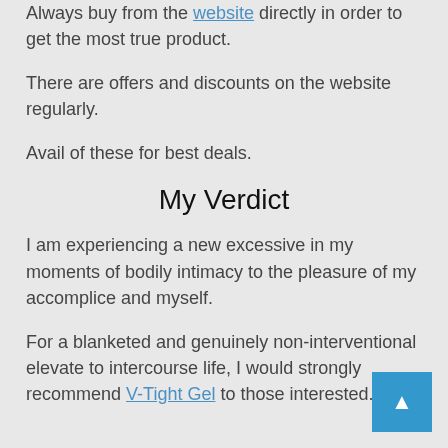Always buy from the website directly in order to get the most true product.
There are offers and discounts on the website regularly.
Avail of these for best deals.
My Verdict
I am experiencing a new excessive in my moments of bodily intimacy to the pleasure of my accomplice and myself.
For a blanketed and genuinely non-interventional elevate to intercourse life, I would strongly recommend V-Tight Gel to those interested.